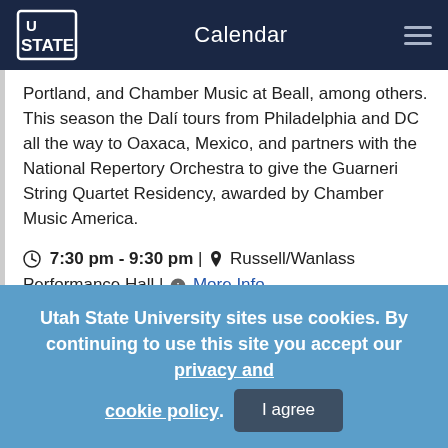Calendar
Portland, and Chamber Music at Beall, among others. This season the Dalí tours from Philadelphia and DC all the way to Oaxaca, Mexico, and partners with the National Repertory Orchestra to give the Guarneri String Quartet Residency, awarded by Chamber Music America.
7:30 pm - 9:30 pm | Russell/Wanlass Performance Hall | More Info
Utah State University sites use cookies. By continuing to use this site you accept our privacy and cookie policy. I agree